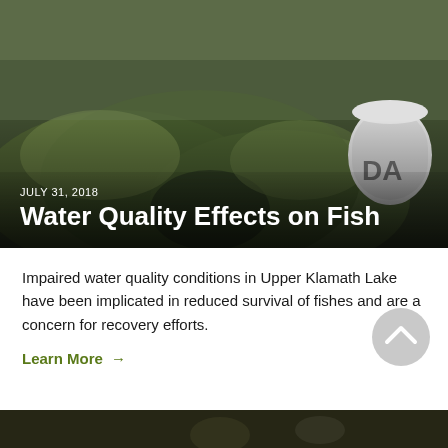[Figure (photo): Aerial or close-up photo of Upper Klamath Lake showing algae/water surface with green mounds and a white cylindrical monitoring buoy visible in the upper right corner. Date overlay: JULY 31, 2018. Title overlay: Water Quality Effects on Fish.]
Water Quality Effects on Fish
Impaired water quality conditions in Upper Klamath Lake have been implicated in reduced survival of fishes and are a concern for recovery efforts.
Learn More →
[Figure (photo): Bottom strip of a dark photo, appears to be an underwater or lake scene.]